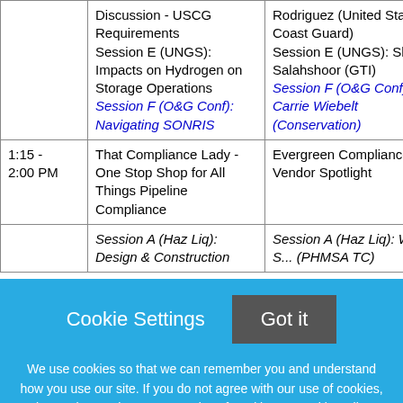| Time | Topic/Session | Speaker/Info |
| --- | --- | --- |
|  | Discussion - USCG Requirements
Session E (UNGS): Impacts on Hydrogen on Storage Operations
Session F (O&G Conf): Navigating SONRIS | Rodriguez (United State Coast Guard)
Session E (UNGS): Shadi Salahshoor (GTI)
Session F (O&G Conf): Carrie Wiebelt (Conservation) |
| 1:15 - 2:00 PM | That Compliance Lady - One Stop Shop for All Things Pipeline Compliance | Evergreen Compliance Vendor Spotlight |
|  | Session A (Haz Liq): Design & Construction... | Session A (Haz Liq): Wayne S... (PHMSA TC)... |
Cookie Settings  Got it

We use cookies so that we can remember you and understand how you use our site. If you do not agree with our use of cookies, please change the current settings found in our Cookie Policy. Otherwise, you agree to the use of the cookies as they are currently set.